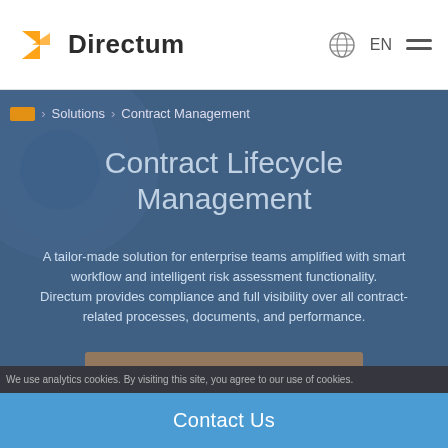Directum — EN navigation header with globe icon and hamburger menu
Home > Solutions > Contract Management
Contract Lifecycle Management
A tailor-made solution for enterprise teams amplified with smart workflow and intelligent risk assessment functionality. Directum provides compliance and full visibility over all contract-related processes, documents, and performance.
Get Free Trial
Contact Us
We use analytics cookies. By visiting this site, you agree to our use of cookies.